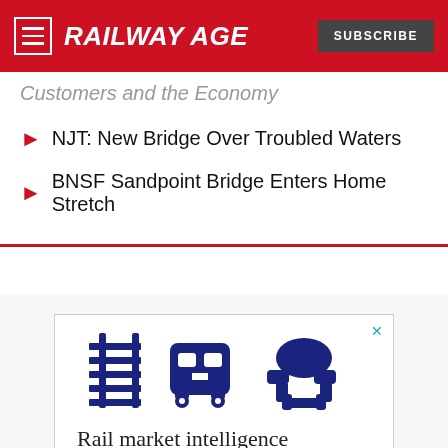RAILWAY AGE
Customers and the Economy
NJT: New Bridge Over Troubled Waters
BNSF Sandpoint Bridge Enters Home Stretch
[Figure (illustration): Three icons: railway tracks, a train, and a handshake. Below: text 'Rail market intelligence at your fingertips.' and IRJ logo.]